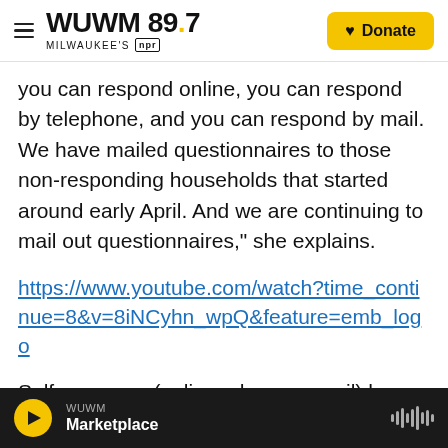WUWM 89.7 Milwaukee's NPR — Donate
you can respond online, you can respond by telephone, and you can respond by mail. We have mailed questionnaires to those non-responding households that started around early April. And we are continuing to mail out questionnaires," she explains.
https://www.youtube.com/watch?time_continue=8&v=8iNCyhn_wpQ&feature=emb_logo
Self-response (online, phone or mail) has been extended to Oct. 31. Also, the timeline for census takers going door-to-door to follow up if people
WUWM Marketplace